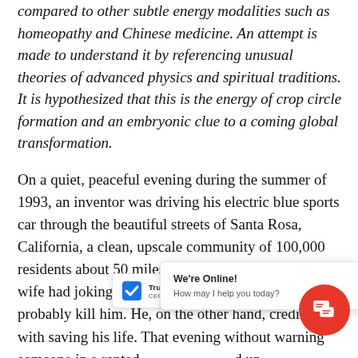compared to other subtle energy modalities such as homeopathy and Chinese medicine. An attempt is made to understand it by referencing unusual theories of advanced physics and spiritual traditions. It is hypothesized that this is the energy of crop circle formation and an embryonic clue to a coming global transformation.
On a quiet, peaceful evening during the summer of 1993, an inventor was driving his electric blue sports car through the beautiful streets of Santa Rosa, California, a clean, upscale community of 100,000 residents about 50 miles north of San Francisco. His wife had jokingly told him that the fast car would probably kill him. He, on the other hand, credits it with saving his life. That evening without warning someone in a rented [...]d up beside [...] at [...] sho Fortu[...] an was not hurt but his car will definitely
[Figure (other): TrustedSite CERTIFIED SECURE badge overlay at bottom left]
[Figure (other): Live chat popup overlay with 'We're Online! How may I help you today?' and a red circular chat button with speech bubble icon]